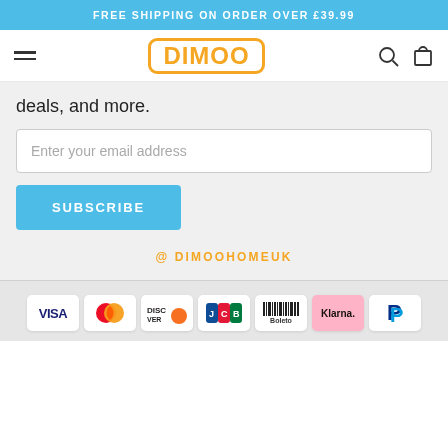FREE SHIPPING ON ORDER OVER £39.99
[Figure (logo): DIMOO brand logo with orange text and rounded rectangle border]
deals, and more.
Enter your email address
SUBSCRIBE
@ DIMOOHOMEUK
[Figure (other): Payment method logos: Visa, Mastercard, Discover, JCB, Boleto, Klarna, PayPal]